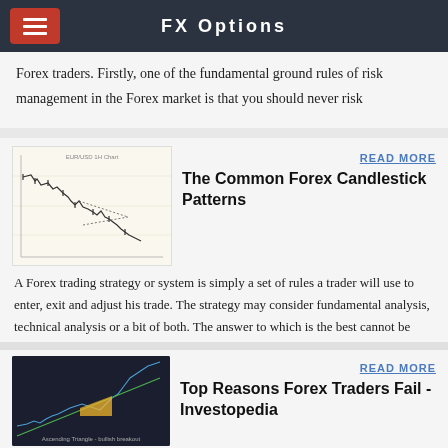FX Options
Forex traders. Firstly, one of the fundamental ground rules of risk management in the Forex market is that you should never risk
[Figure (illustration): Candlestick/line chart showing forex price movements on a light/cream background, with descending price action and triangle pattern]
READ MORE
The Common Forex Candlestick Patterns
A Forex trading strategy or system is simply a set of rules a trader will use to enter, exit and adjust his trade. The strategy may consider fundamental analysis, technical analysis or a bit of both. The answer to which is the best cannot be determined by simply looking at the results of …
[Figure (screenshot): Dark background forex chart showing a bullish triangle breakout pattern with a yellow/gold triangle highlighted and a green ascending trendline. Caption reads 'Ascending Triangle - bullish breakout']
READ MORE
Top Reasons Forex Traders Fail - Investopedia
Coronavirus: Best and worst case scenarios mapped out COVID-19